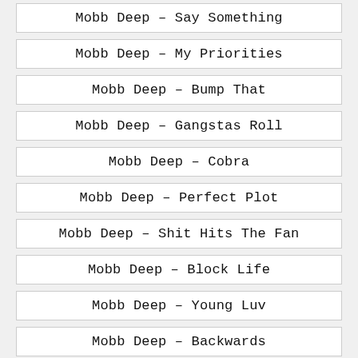Mobb Deep – Say Something
Mobb Deep – My Priorities
Mobb Deep – Bump That
Mobb Deep – Gangstas Roll
Mobb Deep – Cobra
Mobb Deep – Perfect Plot
Mobb Deep – Shit Hits The Fan
Mobb Deep – Block Life
Mobb Deep – Young Luv
Mobb Deep – Backwards
Mobb Deep – Never Talk
Mobb Deep – Taking You Off Here